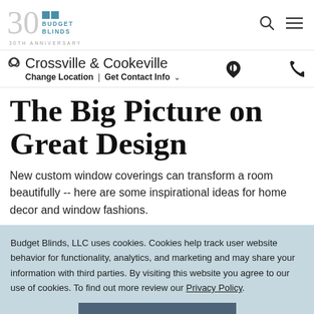[Figure (logo): Budget Blinds 30th Anniversary logo with teal squares and stylized '30' numeral]
Crossville & Cookeville
Change Location | Get Contact Info
The Big Picture on Great Design
New custom window coverings can transform a room beautifully -- here are some inspirational ideas for home decor and window fashions.
Budget Blinds, LLC uses cookies. Cookies help track user website behavior for functionality, analytics, and marketing and may share your information with third parties. By visiting this website you agree to our use of cookies. To find out more review our Privacy Policy.
ACCEPT